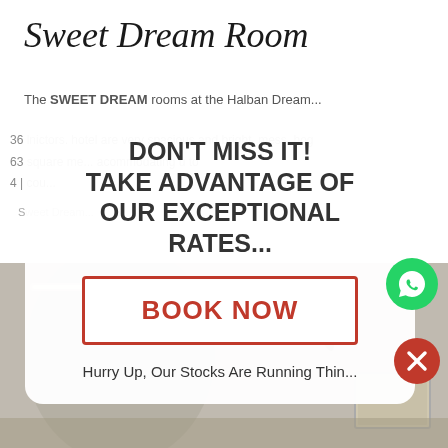Sweet Dream Room
The SWEET DREAM rooms at the Halban Dream...
36 lnictors. hotel are very spacious and bright, mess. hog 63 square me... acommodating u to 4 | cou... Sweet Dream...
[Figure (infographic): Modal popup overlay with promotional message: DON'T MISS IT! TAKE ADVANTAGE OF OUR EXCEPTIONAL RATES... with BOOK NOW button and WhatsApp icon]
DON'T MISS IT! TAKE ADVANTAGE OF OUR EXCEPTIONAL RATES...
BOOK NOW
Hurry Up, Our Stocks Are Running Thin...
[Figure (photo): Interior photo of a hotel room showing ceiling, fan, and wall decorations]